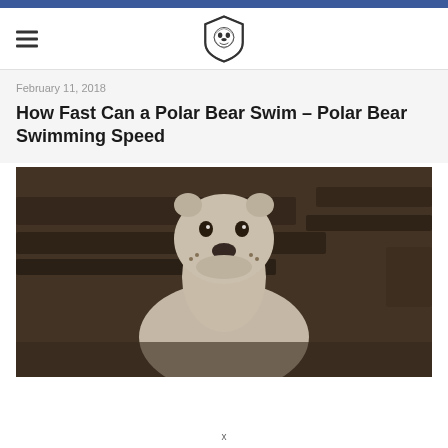February 11, 2018
How Fast Can a Polar Bear Swim – Polar Bear Swimming Speed
[Figure (photo): A polar bear photographed from below, looking upward with its mouth open, showing teeth. The image has a sepia/dark toned color filter. The bear appears to be near or in water with dark structural elements (possibly a dock or platform) behind it.]
x